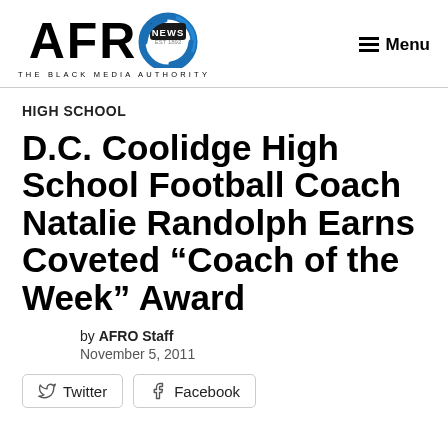[Figure (logo): AFRO News logo with circular globe icon and tagline THE BLACK MEDIA AUTHORITY]
Menu
HIGH SCHOOL
D.C. Coolidge High School Football Coach Natalie Randolph Earns Coveted “Coach of the Week” Award
by AFRO Staff
November 5, 2011
Twitter  Facebook